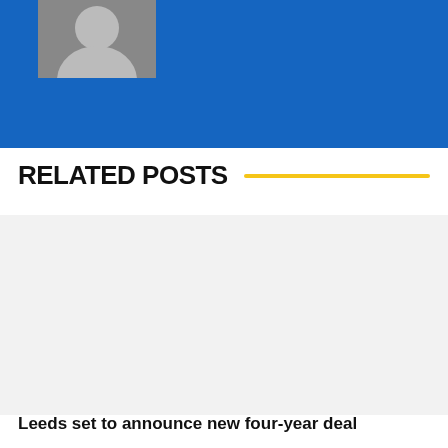[Figure (photo): Top blue banner with a small portrait photo in upper left corner on a blue background]
RELATED POSTS
[Figure (photo): Gray placeholder card for a related post thumbnail]
Leeds set to announce new four-year deal